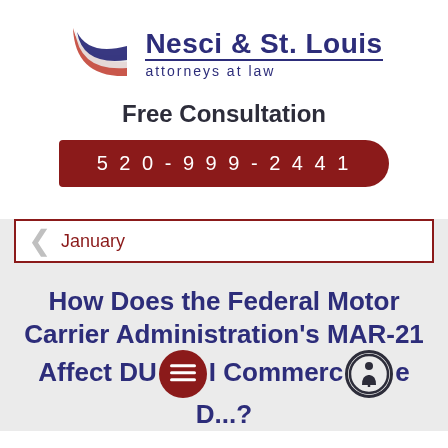[Figure (logo): Nesci & St. Louis attorneys at law logo with stylized swoosh in red, white, and blue/purple colors]
Free Consultation
520-999-2441
January
How Does the Federal Motor Carrier Administration's MAR-21 Affect DUI Commerce D...?